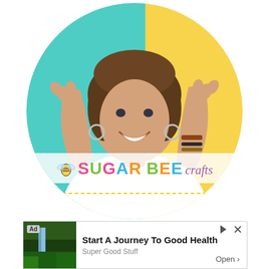[Figure (photo): Circular profile photo of a smiling woman with wavy brown hair wearing a white v-neck shirt and bracelets, raising both hands, set against a teal/blue left half and yellow right half background. The Sugar Bee Crafts logo with a bee icon and colorful lettering appears at the bottom of the circle over a semi-transparent white strip, with a dotted yellow line underneath.]
[Figure (infographic): An advertisement banner showing 'Ad' label, a thumbnail photo of a waterfall, the text 'Start A Journey To Good Health' in bold, subtitle 'Super Good Stuff', and an 'Open >' button on the right, with navigation arrow icons top right.]